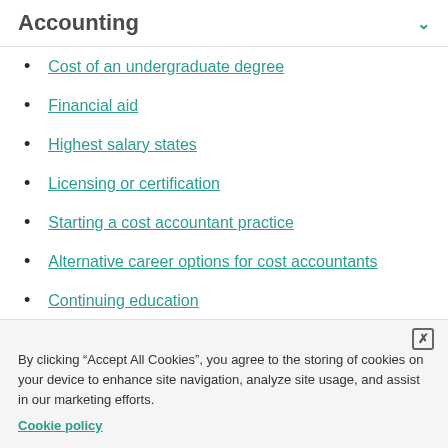Accounting
Cost of an undergraduate degree
Financial aid
Highest salary states
Licensing or certification
Starting a cost accountant practice
Alternative career options for cost accountants
Continuing education
By clicking “Accept All Cookies”, you agree to the storing of cookies on your device to enhance site navigation, analyze site usage, and assist in our marketing efforts.
Cookie policy